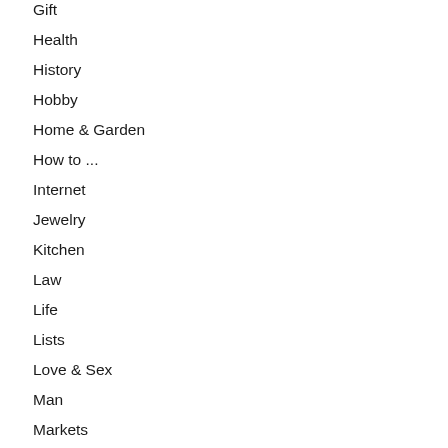Gift
Health
History
Hobby
Home & Garden
How to ...
Internet
Jewelry
Kitchen
Law
Life
Lists
Love & Sex
Man
Markets